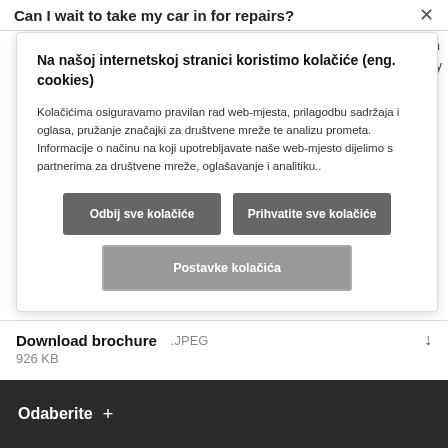Can I wait to take my car in for repairs?
[Figure (screenshot): Cookie consent modal dialog with Croatian text, two dark buttons 'Odbij sve kolačiće' and 'Prihvatite sve kolačiće', and an outlined button 'Postavke kolačića']
Download brochure  JPEG  926 KB
Odaberite +